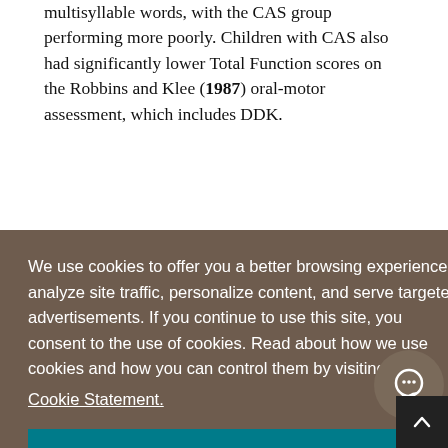multisyllable words, with the CAS group performing more poorly. Children with CAS also had significantly lower Total Function scores on the Robbins and Klee (1987) oral-motor assessment, which includes DDK.
of
d
et
We use cookies to offer you a better browsing experience, analyze site traffic, personalize content, and serve targeted advertisements. If you continue to use this site, you consent to the use of cookies. Read about how we use cookies and how you can control them by visiting our Cookie Statement.
OK
and unintelligibility. Commonly proposed